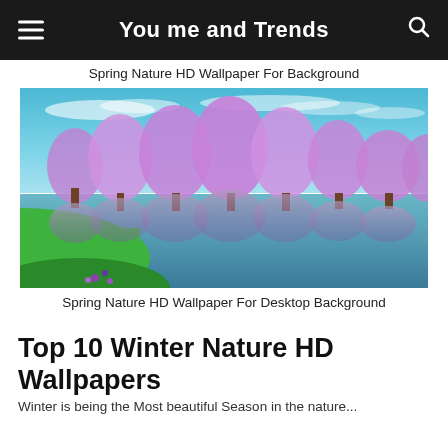You me and Trends
Spring Nature HD Wallpaper For Background
[Figure (photo): Spring nature scene with bright purple/lavender flowering trees reflected in a calm lake, with green grass in the foreground and a blue sky with wispy clouds]
Spring Nature HD Wallpaper For Desktop Background
Top 10 Winter Nature HD Wallpapers
Winter is being the Most beautiful Season in the nature...